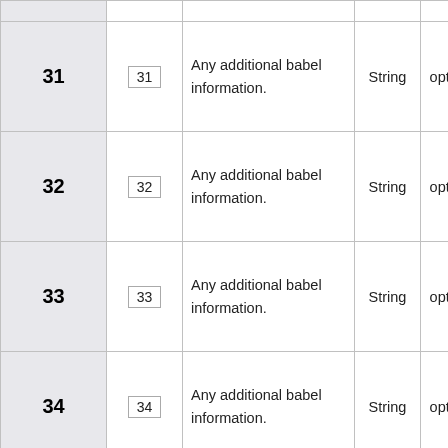| ID | Badge | Description | Type | Required |
| --- | --- | --- | --- | --- |
| 31 | 31 | Any additional babel information. | String | optional |
| 32 | 32 | Any additional babel information. | String | optional |
| 33 | 33 | Any additional babel information. | String | optional |
| 34 | 34 | Any additional babel information. | String | optional |